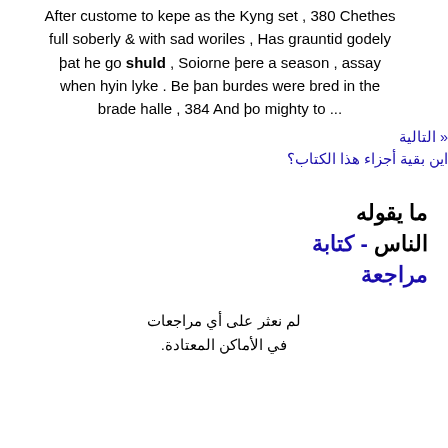After custome to kepe as the Kyng set , 380 Chethes full soberly & with sad woriles , Has grauntid godely þat he go shuld , Soiorne þere a season , assay when hyin lyke . Be þan burdes were bred in the brade halle , 384 And þo mighty to ...
« التالية
اين بقية أجزاء هذا الكتاب؟
ما يقوله الناس - كتابة مراجعة
لم نعثر على أي مراجعات في الأماكن المعتادة.